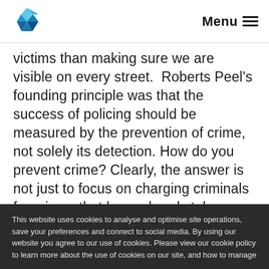Menu
victims than making sure we are visible on every street.  Roberts Peel’s founding principle was that the success of policing should be measured by the prevention of crime, not solely its detection. How do you prevent crime? Clearly, the answer is not just to focus on charging criminals for crimes that have already taken place, crimes for which someone has already been victimised.
This website uses cookies to analyse and optimise site operations, save your preferences and connect to social media. By using our website you agree to our use of cookies. Please view our cookie policy to learn more about the use of cookies on our site, and how to manage